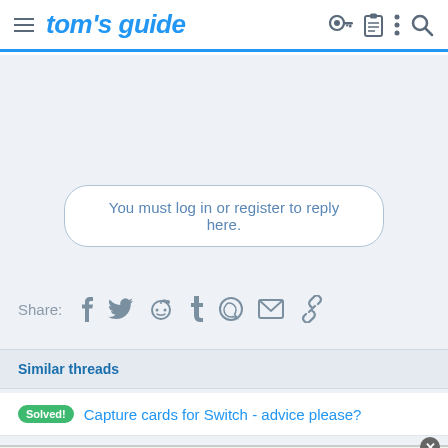tom's guide
You must log in or register to reply here.
Share: [facebook] [twitter] [reddit] [tumblr] [whatsapp] [email] [link]
Similar threads
Solved! Capture cards for Switch - advice please?
[Figure (other): Advertisement banner area with close button]